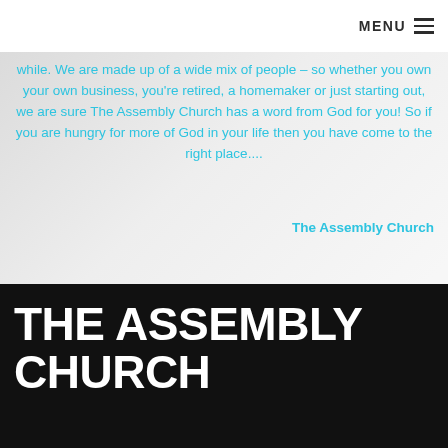MENU
while. We are made up of a wide mix of people – so whether you own your own business, you're retired, a homemaker or just starting out, we are sure The Assembly Church has a word from God for you! So if you are hungry for more of God in your life then you have come to the right place....
The Assembly Church
THE ASSEMBLY CHURCH